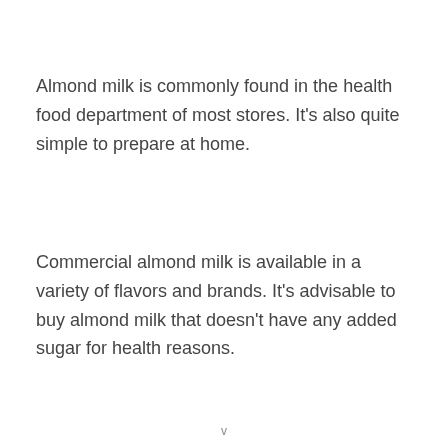Almond milk is commonly found in the health food department of most stores. It's also quite simple to prepare at home.
Commercial almond milk is available in a variety of flavors and brands. It's advisable to buy almond milk that doesn't have any added sugar for health reasons.
v